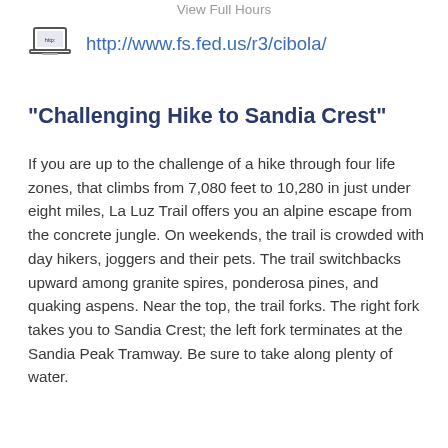View Full Hours
http://www.fs.fed.us/r3/cibola/
"Challenging Hike to Sandia Crest"
If you are up to the challenge of a hike through four life zones, that climbs from 7,080 feet to 10,280 in just under eight miles, La Luz Trail offers you an alpine escape from the concrete jungle. On weekends, the trail is crowded with day hikers, joggers and their pets. The trail switchbacks upward among granite spires, ponderosa pines, and quaking aspens. Near the top, the trail forks. The right fork takes you to Sandia Crest; the left fork terminates at the Sandia Peak Tramway. Be sure to take along plenty of water.